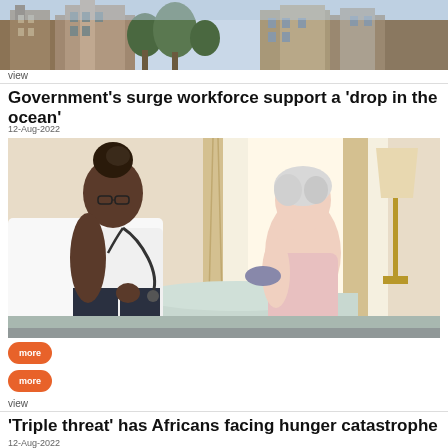[Figure (photo): Aerial or street-level photograph of historic stone buildings with trees]
view
Government's surge workforce support a ‘drop in the ocean’
12-Aug-2022
[Figure (photo): A healthcare worker in white uniform using a stethoscope to check an elderly woman sitting on a bed in a well-lit room with curtains and a lamp]
more
more
view
‘Triple threat’ has Africans facing hunger catastrophe
12-Aug-2022